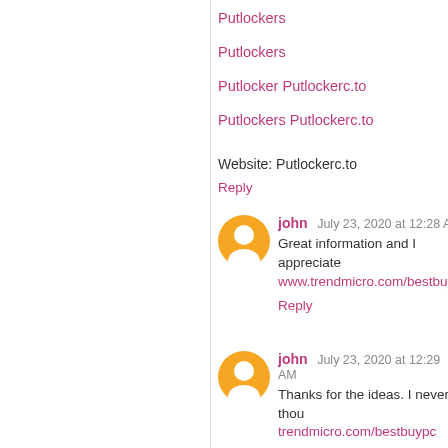Putlockers
Putlockers
Putlocker Putlockerc.to
Putlockers Putlockerc.to
Website: Putlockerc.to
Reply
john July 23, 2020 at 12:28 AM
Great information and I appreciate www.trendmicro.com/bestbuypc
Reply
john July 23, 2020 at 12:29 AM
Thanks for the ideas. I never thou trendmicro.com/bestbuypc